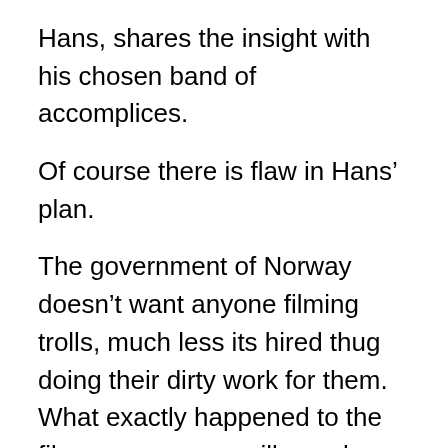Hans, shares the insight with his chosen band of accomplices.
Of course there is flaw in Hans’ plan.
The government of Norway doesn’t want anyone filming trolls, much less its hired thug doing their dirty work for them. What exactly happened to the film crew, no-one will ever know. You see the video tape of their documentary just showed up, but no-one really knows what happened to the college kids who made it.
Nor does anyone really know the current whereabouts of Hans.
Now some might say that this film bears a striking resemblance to the Blair Witch Project, and some might even say that film was fake. But then again some people